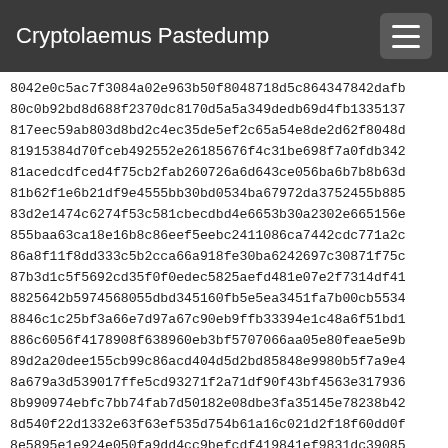Cryptolaemus Pastedump
8042e0c5ac7f3084a02e963b50f8048718d5c864347842dafb
80c0b92bd8d688f2370dc8170d5a5a349dedb69d4fb1335137
817eec59ab803d8bd2c4ec35de5ef2c65a54e8de2d62f8048d
81915384d70fceb492552e26185676f4c31be698f7a0fdb342
81acedcdfced4f75cb2fab260726a6d643ce056ba6b7b8b63d
81b62f1e6b21df9e4555bb30bd0534ba67972da3752455b885
83d2e1474c6274f53c581cbecdbd4e6653b30a2302e665156e
855baa63ca18e16b8c86eef5eebc2411086ca7442cdc771a2c
86a8f11f8dd333c5b2cca66a918fe30ba6242697c30871f75c
87b3d1c5f5692cd35f0f0edec5825aefd481e07e2f7314df41
8825642b5974568055dbd345160fb5e5ea3451fa7b00cb5534
8846c1c25bf3a66e7d97a67c90eb9ffb33394e1c48a6f51bd1
886c6056f4178908f638960eb3bf5707066aa05e80feae5e9b
89d2a20dee155cb99c86acd404d5d2bd85848e9980b5f7a9e4
8a679a3d539017ffe5cd93271f2a71df90f43bf4563e317936
8b990974ebfc7bb74fab7d50182e08dbe3fa35145e78238b42
8d540f22d1332e63f63ef535d754b61a16c021d2f18f60dd0f
8e5895e1e924e050fa9dd4cc9befcdf419841ef9831dc39085
8f189ea117a541dba17d8e45c4893cbbacc0e81421072683a8